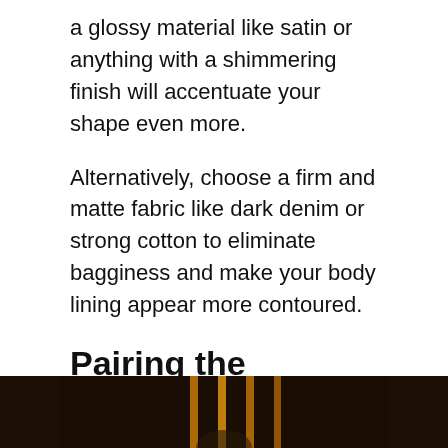a glossy material like satin or anything with a shimmering finish will accentuate your shape even more.
Alternatively, choose a firm and matte fabric like dark denim or strong cotton to eliminate bagginess and make your body lining appear more contoured.
Pairing the oversized sweater with knee-high boots
[Figure (photo): Dark background photo, partially visible at bottom of page, showing vertical gold/amber colored bars or columns.]